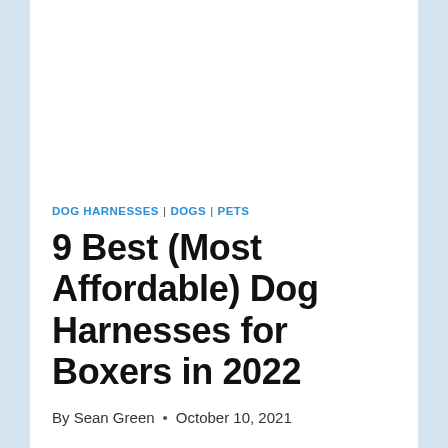DOG HARNESSES | DOGS | PETS
9 Best (Most Affordable) Dog Harnesses for Boxers in 2022
By Sean Green • October 10, 2021
Boxers are incredibly affectionate and loyal family dogs. Their playful, often silly personalities have made them a favorite